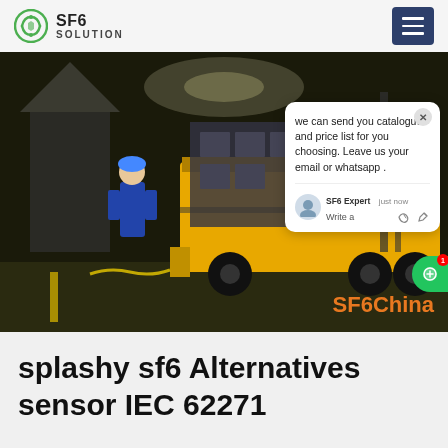SF6 SOLUTION
[Figure (photo): Yellow utility truck at night with equipment loaded, worker in blue overalls standing near it at an industrial facility. Chat popup overlay visible on right side of image with text: 'we can send you catalogue and price list for you choosing. Leave us your email or whatsapp .' — SF6Expert, just now. SF6China watermark bottom right.]
splashy sf6 Alternatives sensor IEC 62271